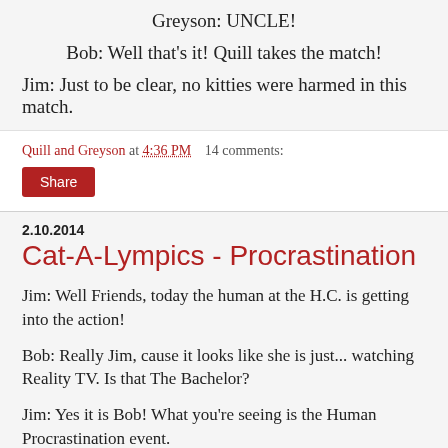Greyson: UNCLE!
Bob: Well that's it! Quill takes the match!
Jim: Just to be clear, no kitties were harmed in this match.
Quill and Greyson at 4:36 PM    14 comments:
Share
2.10.2014
Cat-A-Lympics - Procrastination
Jim: Well Friends, today the human at the H.C. is getting into the action!
Bob: Really Jim, cause it looks like she is just... watching Reality TV. Is that The Bachelor?
Jim: Yes it is Bob! What you're seeing is the Human Procrastination event.